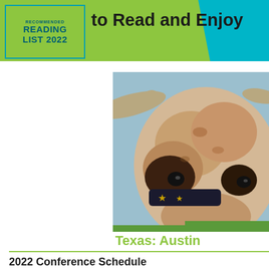RECOMMENDED READING LIST 2022 — to Read and Enjoy
[Figure (illustration): Close-up painting/illustration of a Texas Longhorn cattle face, showing horns, eyes, and a decorative collar with star motifs against a blue sky background]
Texas: Austin
2022 Conference Schedule